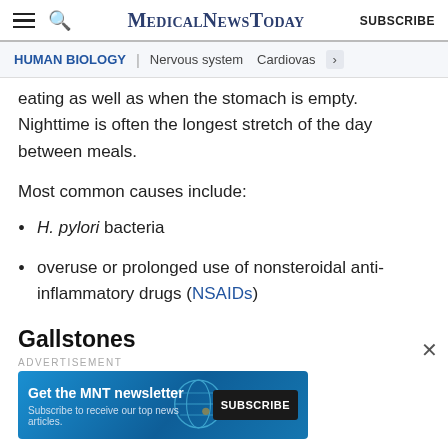MedicalNewsToday | SUBSCRIBE
HUMAN BIOLOGY | Nervous system | Cardiovas
eating as well as when the stomach is empty. Nighttime is often the longest stretch of the day between meals.
Most common causes include:
H. pylori bacteria
overuse or prolonged use of nonsteroidal anti-inflammatory drugs (NSAIDs)
Gallstones
[Figure (other): Advertisement banner: Get the MNT newsletter. Subscribe to receive our top news articles. SUBSCRIBE button.]